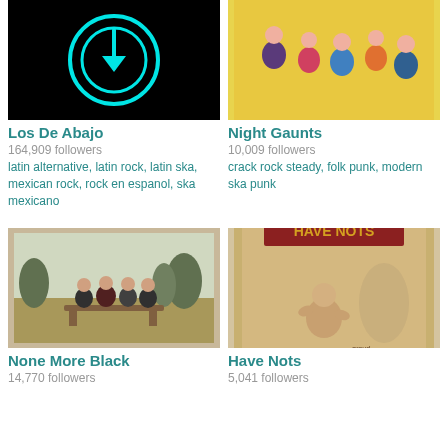[Figure (photo): Los De Abajo artist photo - neon teal circular arrow/download icon on black background]
Los De Abajo
164,909 followers
latin alternative, latin rock, latin ska, mexican rock, rock en espanol, ska mexicano
[Figure (photo): Night Gaunts artist photo - group of young people posing against yellow background]
Night Gaunts
10,009 followers
crack rock steady, folk punk, modern ska punk
[Figure (photo): None More Black artist photo - four people sitting on outdoor bench]
None More Black
14,770 followers
[Figure (photo): Have Nots album/artist image - vintage style with Have Nots text, album art]
Have Nots
5,041 followers